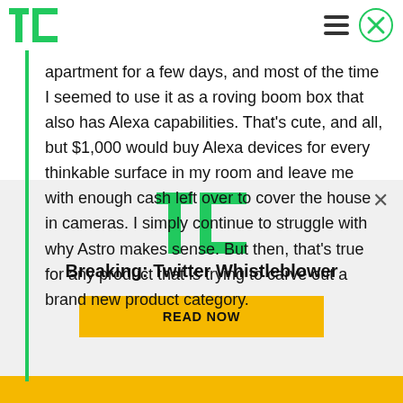TechCrunch
apartment for a few days, and most of the time I seemed to use it as a roving boom box that also has Alexa capabilities. That's cute, and all, but $1,000 would buy Alexa devices for every thinkable surface in my room and leave me with enough cash left over to cover the house in cameras. I simply continue to struggle with why Astro makes sense. But then, that's true for any product that is trying to carve out a brand new product category.
[Figure (logo): TechCrunch TC logo in green]
Breaking: Twitter Whistleblower
READ NOW